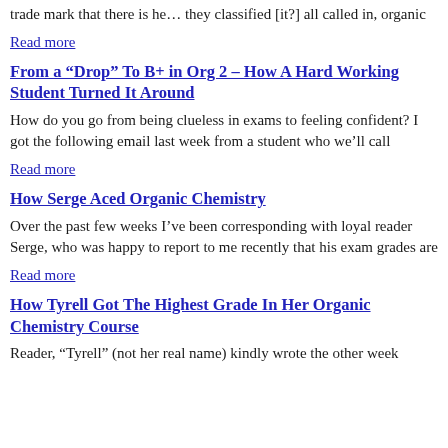trade mark that there is he… they classified [it?] all called in, organic
Read more
From a “Drop” To B+ in Org 2 – How A Hard Working Student Turned It Around
How do you go from being clueless in exams to feeling confident? I got the following email last week from a student who we’ll call
Read more
How Serge Aced Organic Chemistry
Over the past few weeks I’ve been corresponding with loyal reader Serge, who was happy to report to me recently that his exam grades are
Read more
How Tyrell Got The Highest Grade In Her Organic Chemistry Course
Reader, “Tyrell” (not her real name) kindly wrote the other week